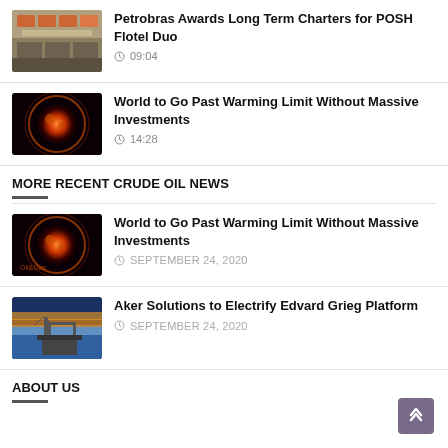[Figure (photo): Aerial view of industrial facility with orange containers]
Petrobras Awards Long Term Charters for POSH Flotel Duo
09:04
[Figure (photo): Glowing Earth globe with orange/red atmosphere]
World to Go Past Warming Limit Without Massive Investments
14:28
MORE RECENT CRUDE OIL NEWS
[Figure (photo): Glowing Earth globe with orange/red atmosphere]
World to Go Past Warming Limit Without Massive Investments
SEPTEMBER 24, 2020
[Figure (photo): Oil platform against sunset sky]
Aker Solutions to Electrify Edvard Grieg Platform
SEPTEMBER 24, 2020
ABOUT US